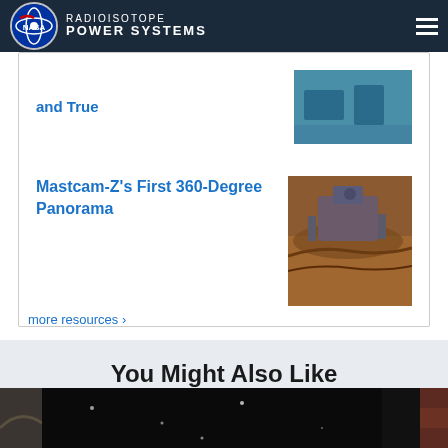RADIOISOTOPE POWER SYSTEMS
and True
[Figure (photo): Partial thumbnail image, appears blue/teal toned, laboratory or space facility setting]
Mastcam-Z's First 360-Degree Panorama
[Figure (photo): Mars rover panoramic photo, orange/brown Martian surface with rover hardware visible]
more resources ›
You Might Also Like
[Figure (photo): Row of three photos at bottom of page, partially visible]